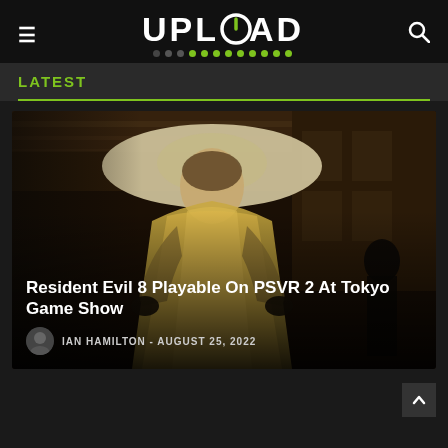UPLOAD
LATEST
[Figure (screenshot): Article card showing Resident Evil 8 (Village) with Lady Dimitrescu character in a golden dress and wide-brimmed hat standing in an ornate castle interior. Dark atmospheric screenshot.]
Resident Evil 8 Playable On PSVR 2 At Tokyo Game Show
IAN HAMILTON - AUGUST 25, 2022